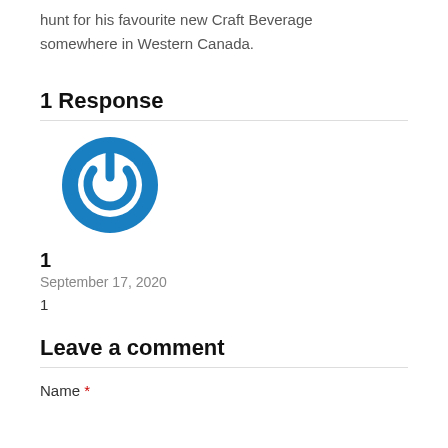hunt for his favourite new Craft Beverage somewhere in Western Canada.
1 Response
[Figure (logo): Blue circular power button icon — white power symbol inside a dark blue ring on white background]
1
September 17, 2020
1
Leave a comment
Name *